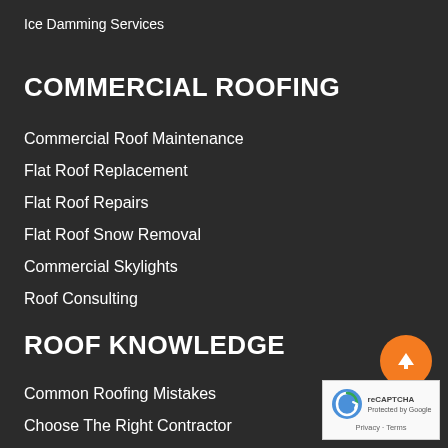Ice Damming Services
COMMERCIAL ROOFING
Commercial Roof Maintenance
Flat Roof Replacement
Flat Roof Repairs
Flat Roof Snow Removal
Commercial Skylights
Roof Consulting
ROOF KNOWLEDGE
Common Roofing Mistakes
Choose The Right Contractor
[Figure (other): Orange circular back-to-top button with upward arrow, and Google reCAPTCHA badge with Privacy and Terms links]